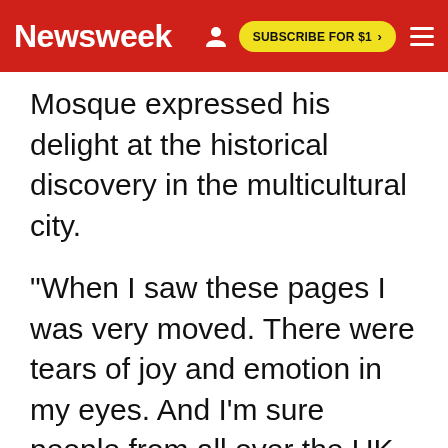Newsweek
Mosque expressed his delight at the historical discovery in the multicultural city.
"When I saw these pages I was very moved. There were tears of joy and emotion in my eyes. And I'm sure people from all over the UK will come to Birmingham to have a glimpse of these pages," Afzal said.